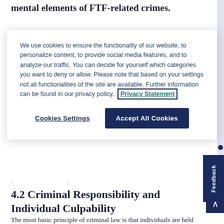mental elements of FTF-related crimes.
We use cookies to ensure the functionality of our website, to personalize content, to provide social media features, and to analyze our traffic. You can decide for yourself which categories you want to deny or allow. Please note that based on your settings not all functionalities of the site are available. Further information can be found in our privacy policy. Privacy Statement
Cookies Settings   Accept All Cookies
4.2 Criminal Responsibility and Individual Culpability
The most basic principle of criminal law is that individuals are held responsible for their own conduct and any associated intent.⁺⁰ Responsibility must be individual, not collective.⁷⁹ It cannot be based solely